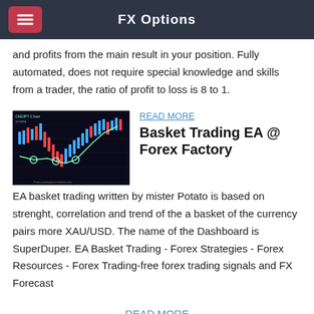FX Options
and profits from the main result in your position. Fully automated, does not require special knowledge and skills from a trader, the ratio of profit to loss is 8 to 1.
[Figure (screenshot): Candlestick chart of CADJPY showing price action with a green trend line overlay and circled entry/exit points]
READ MORE
Basket Trading EA @ Forex Factory
EA basket trading written by mister Potato is based on strenght, correlation and trend of the a basket of the currency pairs more XAU/USD. The name of the Dashboard is SuperDuper. EA Basket Trading - Forex Strategies - Forex Resources - Forex Trading-free forex trading signals and FX Forecast
READ MORE
Forex Basket Trading System - YouTube